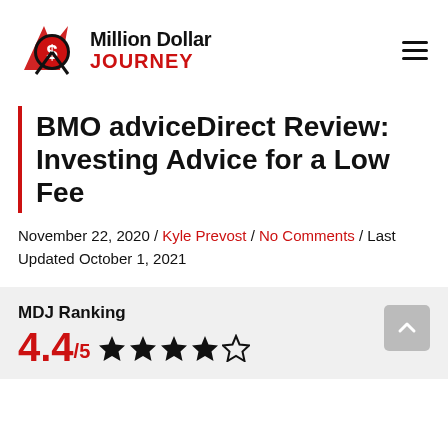[Figure (logo): Million Dollar Journey logo with red arrow/dollar icon and bold text 'Million Dollar JOURNEY']
BMO adviceDirect Review: Investing Advice for a Low Fee
November 22, 2020 / Kyle Prevost / No Comments / Last Updated October 1, 2021
MDJ Ranking
4.4/5 ★★★★☆